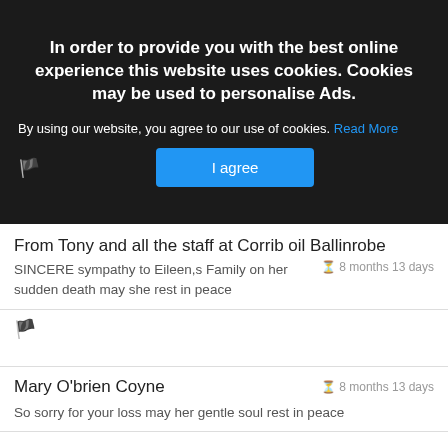In order to provide you with the best online experience this website uses cookies. Cookies may be used to personalise Ads.
By using our website, you agree to our use of cookies. Read More
I agree
From Tony and all the staff at Corrib oil Ballinrobe
SINCERE sympathy to Eileen,s Family on her sudden death may she rest in peace
8 months 13 days
Mary O'brien Coyne
So sorry for your loss may her gentle soul rest in peace
8 months 13 days